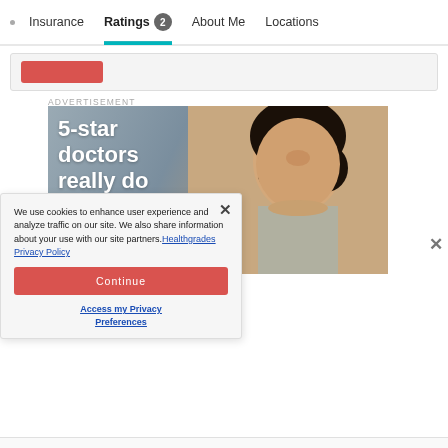Insurance | Ratings 2 | About Me | Locations
[Figure (screenshot): Partial red button element in a grey card area]
ADVERTISEMENT
[Figure (photo): Advertisement banner with text '5-star doctors really do exist.' overlaid on photo of a smiling Asian woman doctor]
We use cookies to enhance user experience and analyze traffic on our site. We also share information about your use with our site partners. Healthgrades Privacy Policy
Continue
Access my Privacy Preferences